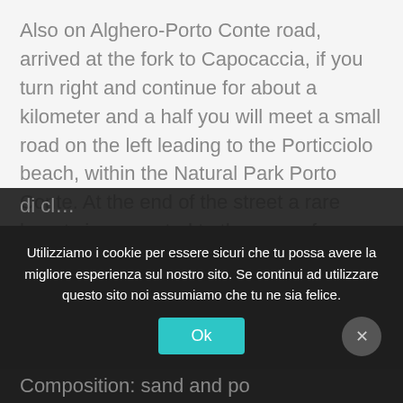Also on Alghero-Porto Conte road, arrived at the fork to Capocaccia, if you turn right and continue for about a kilometer and a half you will meet a small road on the left leading to the Porticciolo beach, within the Natural Park Porto Conte. At the end of the street a rare beauty is presented to the eyes of visitors: a sixteenth-century tower overlooking the promontory that closes the small bay where there is a beach. The bottom becomes almost immediately deep, but the water is crystal clear and often pleasant temperature. All around the area is covered by Mediterranean vegetation. It is the ideal place
Utilizziamo i cookie per essere sicuri che tu possa avere la migliore esperienza sul nostro sito. Se continui ad utilizzare questo sito noi assumiamo che tu ne sia felice.
Ok
Composition: sand and po...